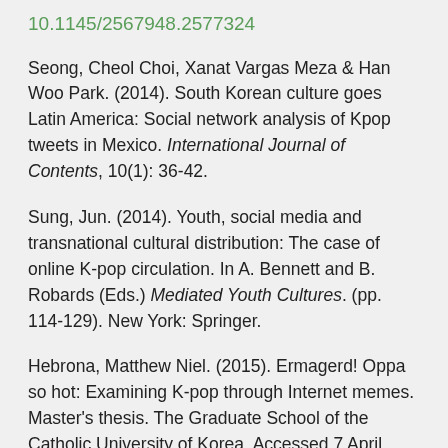10.1145/2567948.2577324
Seong, Cheol Choi, Xanat Vargas Meza & Han Woo Park. (2014). South Korean culture goes Latin America: Social network analysis of Kpop tweets in Mexico. International Journal of Contents, 10(1): 36-42.
Sung, Jun. (2014). Youth, social media and transnational cultural distribution: The case of online K-pop circulation. In A. Bennett and B. Robards (Eds.) Mediated Youth Cultures. (pp. 114-129). New York: Springer.
Hebrona, Matthew Niel. (2015). Ermagerd! Oppa so hot: Examining K-pop through Internet memes. Master's thesis. The Graduate School of the Catholic University of Korea. Accessed 7 April 2016.